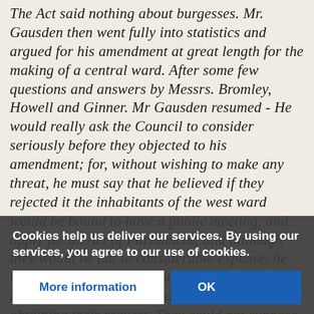The Act said nothing about burgesses. Mr. Gausden then went fully into statistics and argued for his amendment at great length for the making of a central ward. After some few questions and answers by Messrs. Bromley, Howell and Ginner. Mr Gausden resumed - He would really ask the Council to consider seriously before they objected to his amendment; for, without wishing to make any threat, he must say that he believed if they rejected it the inhabitants of the west ward would be bound to have a public meeting, and apply for an Act of Parliament; and although they would be put to considerable expense, he had no doubt that they would be able to lay such a case before Parliament as would lead to their obtaining their request. They could not suppose that the west was to be put down. They had their ire raised on one or two occasions, and had shown what they were made of; and, if necessary, would do so again. From time to time, whenever [continued below banner] ...their own aldermen, and whenever for w... ...own aldermen, and whenever Eas... ...d; they always
Cookies help us deliver our services. By using our services, you agree to our use of cookies.